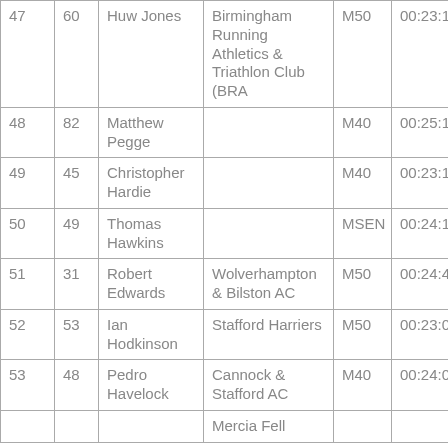| 47 | 60 | Huw Jones | Birmingham Running Athletics & Triathlon Club (BRA | M50 | 00:23:14 |
| 48 | 82 | Matthew Pegge |  | M40 | 00:25:12 |
| 49 | 45 | Christopher Hardie |  | M40 | 00:23:17 |
| 50 | 49 | Thomas Hawkins |  | MSEN | 00:24:10 |
| 51 | 31 | Robert Edwards | Wolverhampton & Bilston AC | M50 | 00:24:43 |
| 52 | 53 | Ian Hodkinson | Stafford Harriers | M50 | 00:23:06 |
| 53 | 48 | Pedro Havelock | Cannock & Stafford AC | M40 | 00:24:07 |
|  |  |  | Mercia Fell |  |  |